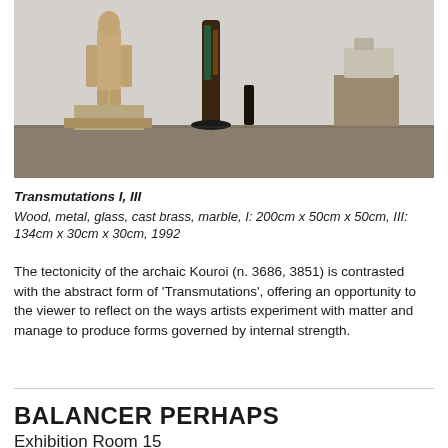[Figure (photo): Museum exhibition room showing several sculptures on pedestals: a large classical marble kouros figure on the left, a tall narrow wooden/metal abstract sculpture in dark tones in the center, a smaller dark abstract piece, and a stone or marble fragment on a wooden pedestal on the right. The room has white walls and a dark floor.]
Transmutations I, III
Wood, metal, glass, cast brass, marble, I: 200cm x 50cm x 50cm, III: 134cm x 30cm x 30cm, 1992
The tectonicity of the archaic Kouroi (n. 3686, 3851) is contrasted with the abstract form of 'Transmutations', offering an opportunity to the viewer to reflect on the ways artists experiment with matter and manage to produce forms governed by internal strength.
BALANCER PERHAPS
Exhibition Room 15